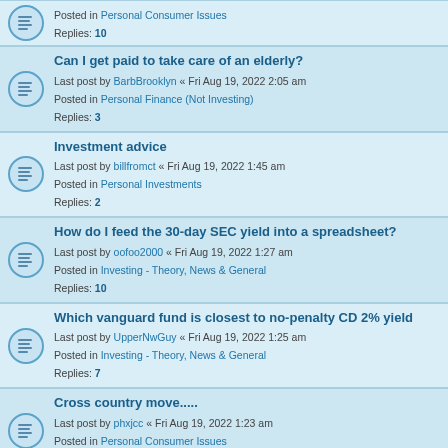Posted in Personal Consumer Issues
Replies: 10
Can I get paid to take care of an elderly?
Last post by BarbBrooklyn « Fri Aug 19, 2022 2:05 am
Posted in Personal Finance (Not Investing)
Replies: 3
Investment advice
Last post by billfromct « Fri Aug 19, 2022 1:45 am
Posted in Personal Investments
Replies: 2
How do I feed the 30-day SEC yield into a spreadsheet?
Last post by oofoo2000 « Fri Aug 19, 2022 1:27 am
Posted in Investing - Theory, News & General
Replies: 10
Which vanguard fund is closest to no-penalty CD 2% yield
Last post by UpperNwGuy « Fri Aug 19, 2022 1:25 am
Posted in Investing - Theory, News & General
Replies: 7
Cross country move.....
Last post by phxjcc « Fri Aug 19, 2022 1:23 am
Posted in Personal Consumer Issues
Replies: 33
What is your age and asset allocation ?
Last post by MTF « Fri Aug 19, 2022 1:15 am
Posted in Investing - Theory, News & General
Replies: 1002
What's Your Credit Card Rewards Strategy?
Last post by d0gerz « Fri Aug 19, 2022 1:05 am
Posted in Personal Finance (Not Investing)
Replies: 5768